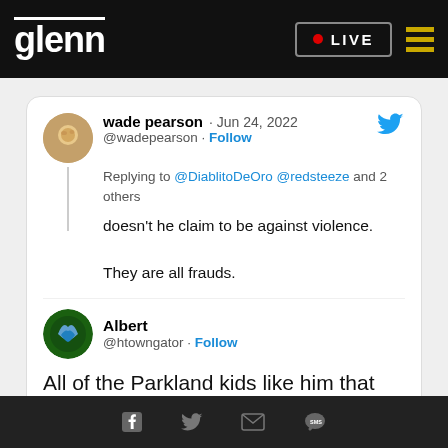glenn · LIVE
[Figure (screenshot): Twitter/social media screenshot showing two tweets. Wade pearson (@wadepearson, Jun 24, 2022) replying to @DiablitoDeOro @redsteeze and 2 others: 'doesn't he claim to be against violence. They are all frauds.' Albert (@htowngator) Follow. Followed by large text: 'All of the Parkland kids like him that lectured everyone on "fight for our lives" will gleefully']
Facebook · Twitter · Email · SMS